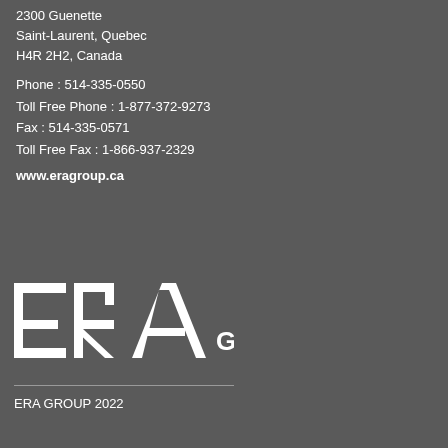2300 Guenette
Saint-Laurent, Quebec
H4R 2H2, Canada
Phone : 514-335-0550
Toll Free Phone : 1-877-372-9273
Fax : 514-335-0571
Toll Free Fax : 1-866-937-2329
www.eragroup.ca
[Figure (logo): ERA GROUP logo — large stylized letters ER with a triangular A, followed by GROUP in smaller caps, all in white on dark grey background]
ERA GROUP 2022